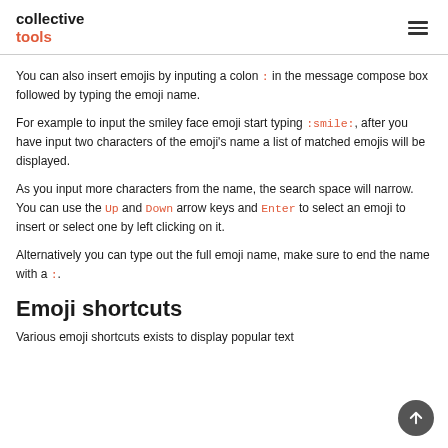collective tools
You can also insert emojis by inputing a colon : in the message compose box followed by typing the emoji name.
For example to input the smiley face emoji start typing :smile:, after you have input two characters of the emoji's name a list of matched emojis will be displayed.
As you input more characters from the name, the search space will narrow. You can use the Up and Down arrow keys and Enter to select an emoji to insert or select one by left clicking on it.
Alternatively you can type out the full emoji name, make sure to end the name with a :.
Emoji shortcuts
Various emoji shortcuts exists to display popular text